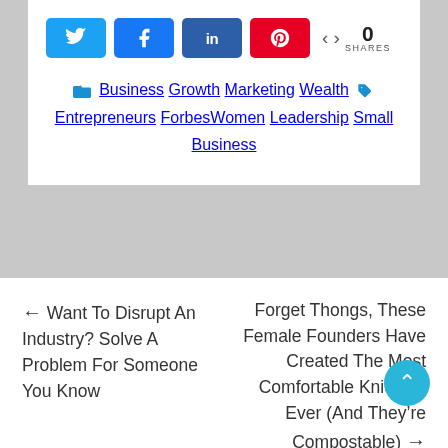[Figure (screenshot): Social share buttons: Twitter (blue), Facebook (blue), LinkedIn (dark blue), Pinterest (red), and a share count showing 0 SHARES]
Business Growth Marketing Wealth Entrepreneurs ForbesWomen Leadership Small Business
← Want To Disrupt An Industry? Solve A Problem For Someone You Know
Forget Thongs, These Female Founders Have Created The Most Comfortable Knickers Ever (And They're Compostable) →